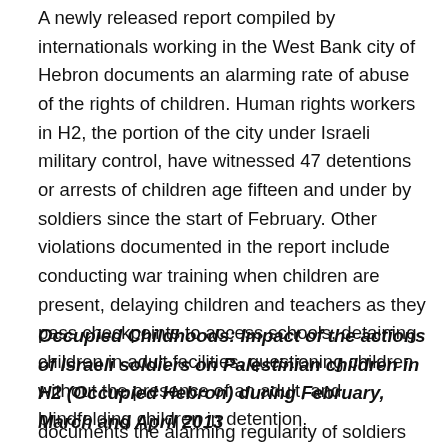A newly released report compiled by internationals working in the West Bank city of Hebron documents an alarming rate of abuse of the rights of children. Human rights workers in H2, the portion of the city under Israeli military control, have witnessed 47 detentions or arrests of children age fifteen and under by soldiers since the start of February. Other violations documented in the report include conducting war training when children are present, delaying children and teachers as they pass checkpoints to access schools, detaining children in adult facilities, questioning children without the presence of an adult, and blindfolding children in detention.
Occupied Childhoods: Impact of the actions of Israeli soldiers on Palestinian children in H2 (Occupied Hebron) during February, March and April 2013
documents the alarming regularity of soldiers violating the